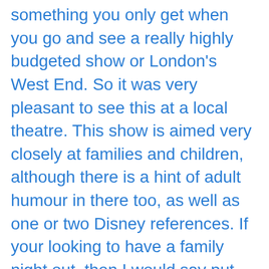something you only get when you go and see a really highly budgeted show or London's West End. So it was very pleasant to see this at a local theatre. This show is aimed very closely at families and children, although there is a hint of adult humour in there too, as well as one or two Disney references. If your looking to have a family night out, then I would say put this on your radar. Is it the best adaption of 'Wizard of Oz' I've seen? No, but like I said before, this